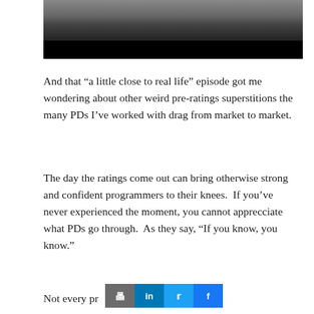[Figure (photo): A photo of people (partially visible) at the top, with a black bar below it cropping the bottom of the image.]
And that “a little close to real life” episode got me wondering about other weird pre-ratings superstitions the many PDs I’ve worked with drag from market to market.
The day the ratings come out can bring otherwise strong and confident programmers to their knees.  If you’ve never experienced the moment, you cannot apprecciate what PDs go through.  As they say, “If you know, you know.”
Not every pr… pre-ratings